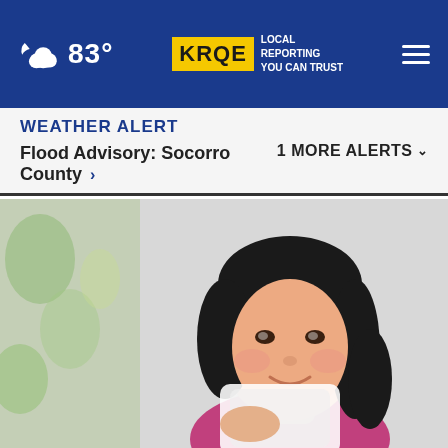83° KRQE LOCAL REPORTING YOU CAN TRUST
WEATHER ALERT   1 MORE ALERTS ∨
Flood Advisory: Socorro County ›
[Figure (photo): A smiling young woman with short black hair, wearing a pink top, holding a white cloth or tissue near her face. Blurred background with green and white floral curtains.]